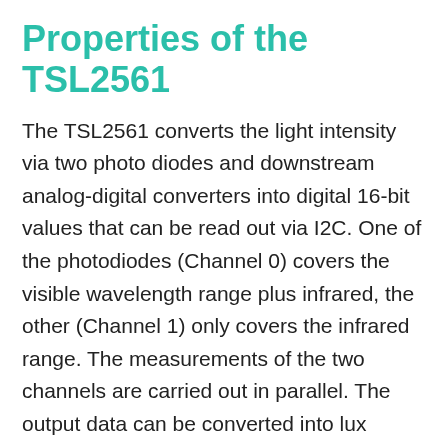Properties of the TSL2561
The TSL2561 converts the light intensity via two photo diodes and downstream analog-digital converters into digital 16-bit values that can be read out via I2C. One of the photodiodes (Channel 0) covers the visible wavelength range plus infrared, the other (Channel 1) only covers the infrared range. The measurements of the two channels are carried out in parallel. The output data can be converted into lux values using an empirical formula. Strictly speaking, it is a whole collection of formulas that are used according to the lighting conditions. By considering the IR component, the light values correspond particularly well to the perception of the